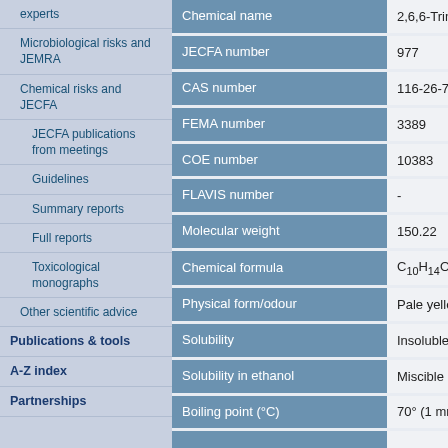experts
Microbiological risks and JEMRA
Chemical risks and JECFA
JECFA publications from meetings
Guidelines
Summary reports
Full reports
Toxicological monographs
Other scientific advice
Publications & tools
A-Z index
Partnerships
| Field | Value |
| --- | --- |
| Chemical name | 2,6,6-Trime… |
| JECFA number | 977 |
| CAS number | 116-26-7 |
| FEMA number | 3389 |
| COE number | 10383 |
| FLAVIS number | - |
| Molecular weight | 150.22 |
| Chemical formula | C10H14O |
| Physical form/odour | Pale yellow… |
| Solubility | Insoluble i… |
| Solubility in ethanol | Miscible at… |
| Boiling point (°C) | 70° (1 mm… |